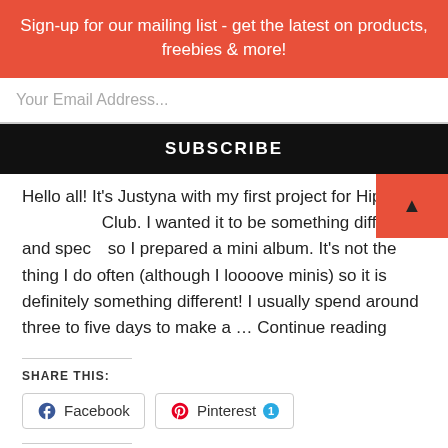Sign-up for our mailing list - get the latest on products, freebies & more!
Your Email Address...
SUBSCRIBE
Hello all! It's Justyna with my first project for Hip Kit Club. I wanted it to be something different and spec… so I prepared a mini album. It's not the thing I do often (although I loooove minis) so it is definitely something different! I usually spend around three to five days to make a … Continue reading
SHARE THIS:
Facebook
Pinterest 1
LIKE THIS:
Loading...